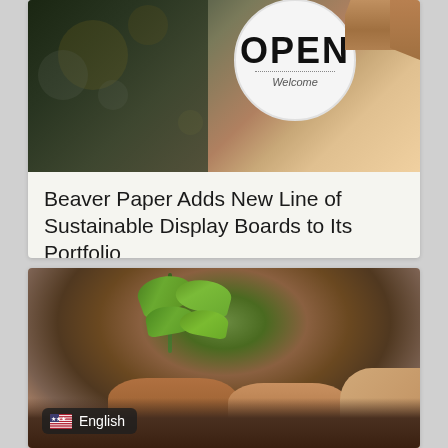[Figure (photo): Photo of a person holding an OPEN sign (circular, with 'Welcome' text and dotted line) against a bokeh background]
Beaver Paper Adds New Line of Sustainable Display Boards to Its Portfolio
Read More »
[Figure (photo): Photo of hands holding a young green plant/seedling in soil]
English